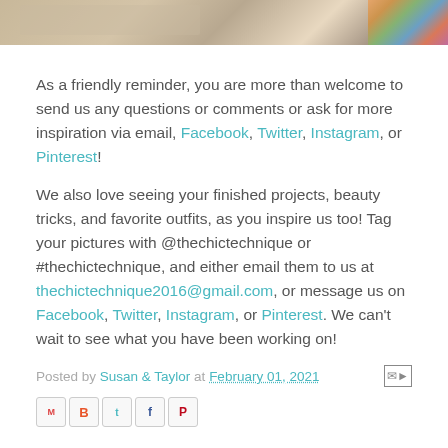[Figure (photo): Top portion of a photo showing a granite countertop surface with colorful items in the upper right corner]
As a friendly reminder, you are more than welcome to send us any questions or comments or ask for more inspiration via email, Facebook, Twitter, Instagram, or Pinterest!
We also love seeing your finished projects, beauty tricks, and favorite outfits, as you inspire us too! Tag your pictures with @thechictechnique or #thechictechnique, and either email them to us at thechictechnique2016@gmail.com, or message us on Facebook, Twitter, Instagram, or Pinterest. We can't wait to see what you have been working on!
Posted by Susan & Taylor at February 01, 2021